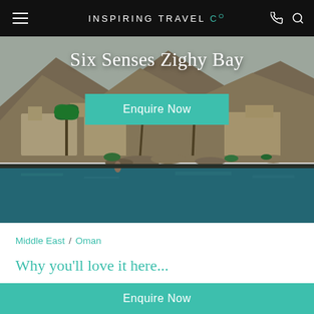INSPIRING TRAVEL CO
[Figure (photo): Aerial/ground view of Six Senses Zighy Bay resort with pool, palm trees, and rocky mountains in background, with resort buildings visible]
Six Senses Zighy Bay
Enquire Now
Middle East / Oman
Why you'll love it here...
Beautiful private peninsula located between the
Enquire Now